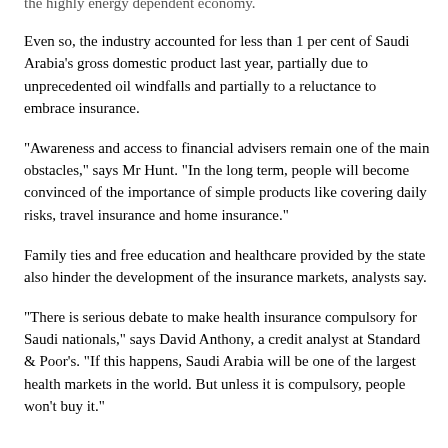the highly energy dependent economy.
Even so, the industry accounted for less than 1 per cent of Saudi Arabia's gross domestic product last year, partially due to unprecedented oil windfalls and partially to a reluctance to embrace insurance.
"Awareness and access to financial advisers remain one of the main obstacles," says Mr Hunt. "In the long term, people will become convinced of the importance of simple products like covering daily risks, travel insurance and home insurance."
Family ties and free education and healthcare provided by the state also hinder the development of the insurance markets, analysts say.
"There is serious debate to make health insurance compulsory for Saudi nationals," says David Anthony, a credit analyst at Standard & Poor's. "If this happens, Saudi Arabia will be one of the largest health markets in the world. But unless it is compulsory, people won't buy it."